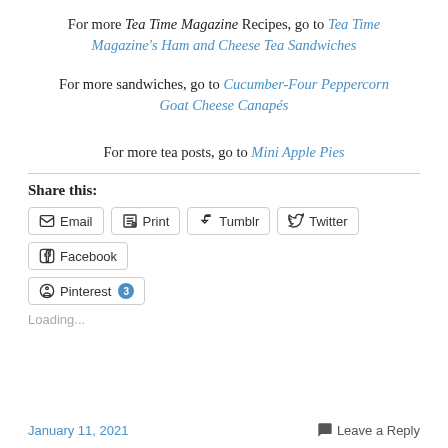For more Tea Time Magazine Recipes, go to Tea Time Magazine's Ham and Cheese Tea Sandwiches
For more sandwiches, go to Cucumber-Four Peppercorn Goat Cheese Canapés
For more tea posts, go to Mini Apple Pies
Share this:
Email  Print  Tumblr  Twitter  Facebook  Pinterest 3
Loading...
January 11, 2021    Leave a Reply